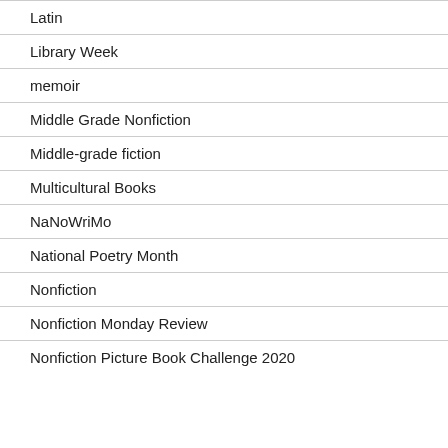Latin
Library Week
memoir
Middle Grade Nonfiction
Middle-grade fiction
Multicultural Books
NaNoWriMo
National Poetry Month
Nonfiction
Nonfiction Monday Review
Nonfiction Picture Book Challenge 2020